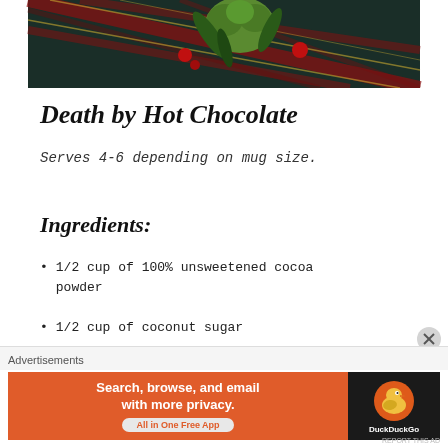[Figure (photo): Holiday/Christmas themed photo with plaid fabric in dark green, red, and navy tartan pattern, with green broccoli or cauliflower and dark green leaves visible in the foreground.]
Death by Hot Chocolate
Serves 4-6 depending on mug size.
Ingredients:
1/2 cup of 100% unsweetened cocoa powder
1/2 cup of coconut sugar
Advertisements
[Figure (infographic): DuckDuckGo advertisement banner: orange background with text 'Search, browse, and email with more privacy. All in One Free App' and DuckDuckGo duck logo on dark background.]